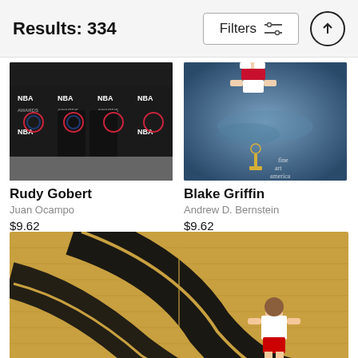Results: 334
Filters
[Figure (photo): NBA Awards event photo showing lower body of Rudy Gobert in black suit at NBA Awards backdrop]
Rudy Gobert
Juan Ocampo
$9.62
[Figure (photo): Blake Griffin floating/jumping photo with NBA trophy in background, fine art america watermark]
Blake Griffin
Andrew D. Bernstein
$9.62
[Figure (photo): Basketball player standing on court with Toronto Raptors logo on court floor, wood court surface]